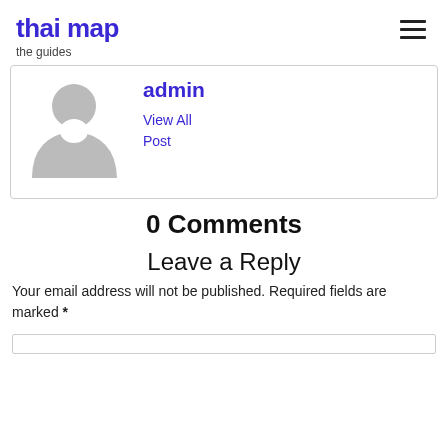thai map
the guides
[Figure (illustration): Default user avatar placeholder (grey silhouette of a person on white background)]
admin
View All Post
0 Comments
Leave a Reply
Your email address will not be published. Required fields are marked *